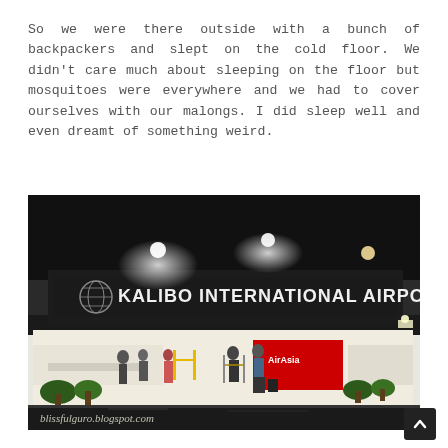So we were there outside with a bunch of backpackers and slept on the cold floor. We didn't care much about sleeping on the floor but mosquitoes were everywhere and we had to cover ourselves with our malongs. I did sleep well and even dreamt of something weird.
[Figure (photo): Night photo of Kalibo International Airport exterior. The building facade is lit up at night showing the sign 'KALIBO INTERNATIONAL AIRPORT' with a Cebu Pacific Airlines logo (globe icon). People are visible inside through glass walls. A watermark reads 'blissfulguro.blogspot.com'.]